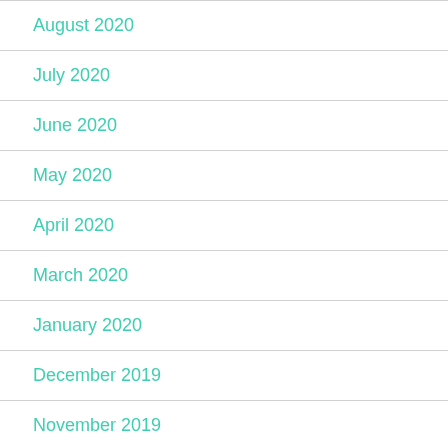August 2020
July 2020
June 2020
May 2020
April 2020
March 2020
January 2020
December 2019
November 2019